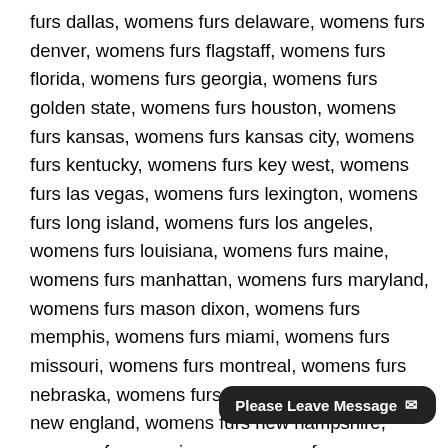furs dallas, womens furs delaware, womens furs denver, womens furs flagstaff, womens furs florida, womens furs georgia, womens furs golden state, womens furs houston, womens furs kansas, womens furs kansas city, womens furs kentucky, womens furs key west, womens furs las vegas, womens furs lexington, womens furs long island, womens furs los angeles, womens furs louisiana, womens furs maine, womens furs manhattan, womens furs maryland, womens furs mason dixon, womens furs memphis, womens furs miami, womens furs missouri, womens furs montreal, womens furs nebraska, womens furs nevada, womens furs new england, womens furs new hampshire, womens furs new jersey, womens furs new mexico, womens furs new orleans, womens furs new york state, womens furs newark, womens furs niagra falls, womens furs north carolina, womens furs north dakota, womens furs nova scotia, womens furs ontario, womens furs oregon, womens furs philadelphia, womens furs phoenix, womens furs portland, womens furs provo, womens furs reno, womens furs rhode island, womens furs salt lake cit[y], womens furs san diego, womens furs s[…]